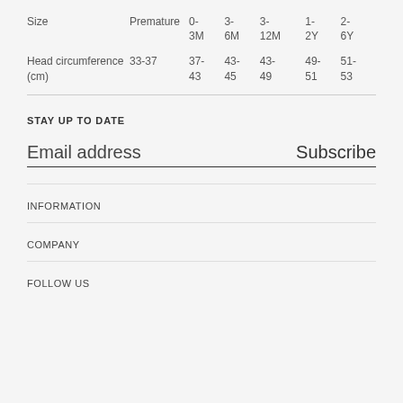| Size | Premature | 0-3M | 3-6M | 3-12M | 1-2Y | 2-6Y |
| --- | --- | --- | --- | --- | --- | --- |
| Head circumference (cm) | 33-37 | 37-43 | 43-45 | 43-49 | 49-51 | 51-53 |
STAY UP TO DATE
Email address   Subscribe
INFORMATION
COMPANY
FOLLOW US